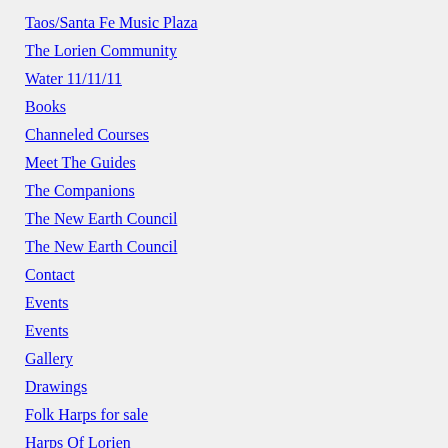Taos/Santa Fe Music Plaza
The Lorien Community
Water 11/11/11
Books
Channeled Courses
Meet The Guides
The Companions
The New Earth Council
The New Earth Council
Contact
Events
Events
Gallery
Drawings
Folk Harps for sale
Harps Of Lorien
The Paris Vihuela
Bermudez Vihuela Article
Healing & Channeling